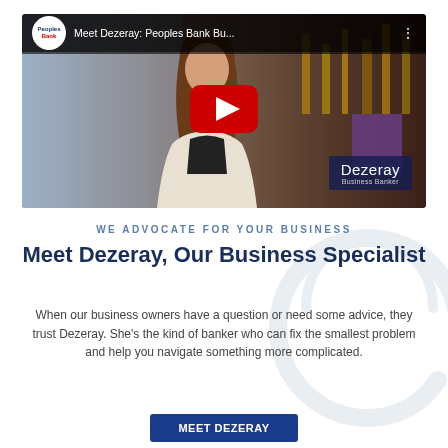[Figure (screenshot): YouTube video thumbnail showing a woman (Dezeray) speaking, with a red YouTube play button overlay. Title reads 'Meet Dezeray: Peoples Bank Bu...' with Peoples Bank logo. Name tag shows 'Dezeray / Business Banker'.]
WE ADVOCATE FOR YOUR BUSINESS
Meet Dezeray, Our Business Specialist
When our business owners have a question or need some advice, they trust Dezeray. She's the kind of banker who can fix the smallest problem and help you navigate something more complicated.